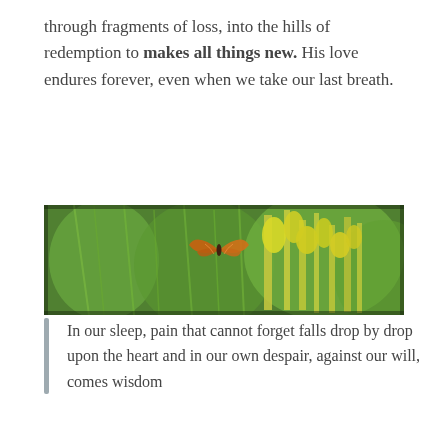through fragments of loss, into the hills of redemption to makes all things new. His love endures forever, even when we take our last breath.
[Figure (photo): A photograph of green wildflowers and grasses with an orange butterfly perched on the yellow blooms in the center of the image. The background is a lush green field.]
In our sleep, pain that cannot forget falls drop by drop upon the heart and in our own despair, against our will, comes wisdom